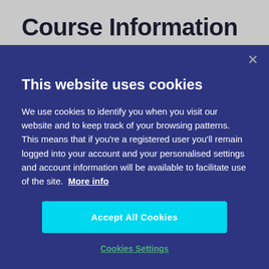Course Information
This website uses cookies
We use cookies to identify you when you visit our website and to keep track of your browsing patterns. This means that if you're a registered user you'll remain logged into your account and your personalised settings and account information will be available to facilitate use of the site. More info
Accept All Cookies
Cookies Settings